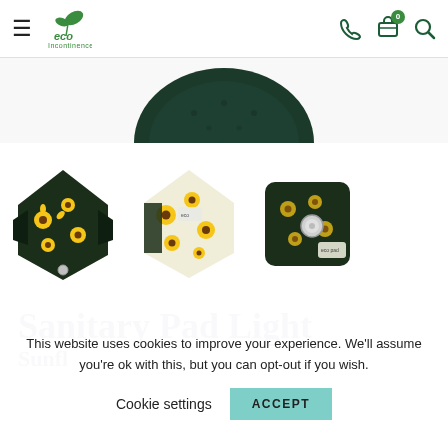eco Incontinence – navigation bar with hamburger menu, logo, phone, cart (0), and search icons
[Figure (photo): Top portion of a dark green circular sanitary pad product, shown from above, cropped at the top of the product image area]
[Figure (photo): Three thumbnail images of sunflower-patterned sanitary pads: left shows pad folded with dark underside, center shows open pad with sunflower print face-up, right shows back of pad with snap button]
Sanitary Pad Light
Cookie settings notice: This website uses cookies to improve your experience. We'll assume you're ok with this, but you can opt-out if you wish.
Cookie settings   ACCEPT